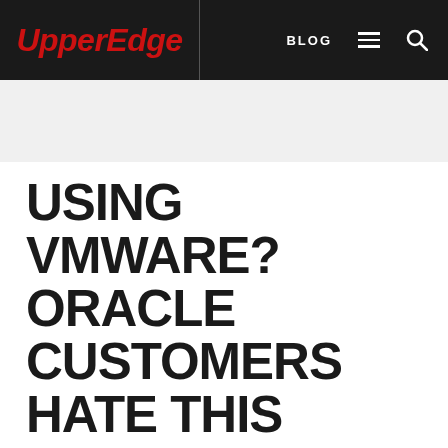UpperEdge | BLOG
USING VMWARE? ORACLE CUSTOMERS HATE THIS LICENSING PITFALL